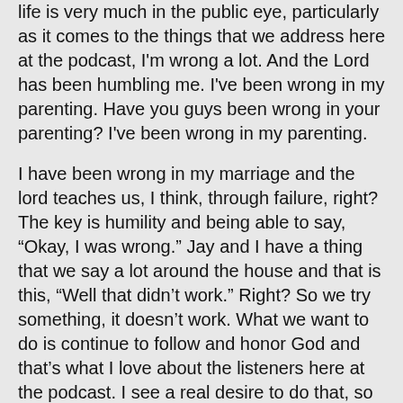life is very much in the public eye, particularly as it comes to the things that we address here at the podcast, I'm wrong a lot. And the Lord has been humbling me. I've been wrong in my parenting. Have you guys been wrong in your parenting? I've been wrong in my parenting.
I have been wrong in my marriage and the lord teaches us, I think, through failure, right? The key is humility and being able to say, “Okay, I was wrong.” Jay and I have a thing that we say a lot around the house and that is this, “Well that didn’t work.” Right? So we try something, it doesn’t work. What we want to do is continue to follow and honor God and that’s what I love about the listeners here at the podcast. I see a real desire to do that, so we’re walking in community with each other.
Christine goes on to say, “I’m not exactly sure how to phrase my question, but here it goes. I